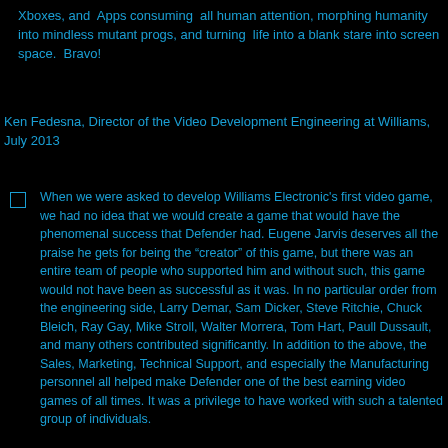Xboxes, and Apps consuming all human attention, morphing humanity into mindless mutant progs, and turning life into a blank stare into screen space. Bravo!
Ken Fedesna, Director of the Video Development Engineering at Williams, July 2013
When we were asked to develop Williams Electronic's first video game, we had no idea that we would create a game that would have the phenomenal success that Defender had. Eugene Jarvis deserves all the praise he gets for being the “creator” of this game, but there was an entire team of people who supported him and without such, this game would not have been as successful as it was. In no particular order from the engineering side, Larry Demar, Sam Dicker, Steve Ritchie, Chuck Bleich, Ray Gay, Mike Stroll, Walter Morrera, Tom Hart, Paull Dussault, and many others contributed significantly. In addition to the above, the Sales, Marketing, Technical Support, and especially the Manufacturing personnel all helped make Defender one of the best earning video games of all times. It was a privilege to have worked with such a talented group of individuals.